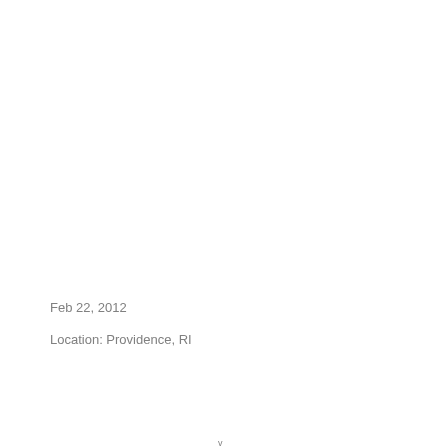Feb 22, 2012
Location: Providence, RI
v